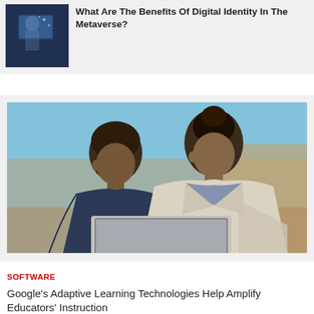What Are The Benefits Of Digital Identity In The Metaverse?
[Figure (photo): Thumbnail image related to digital identity and metaverse article]
[Figure (photo): Photo of a teacher and student looking at a laptop/tablet together in a classroom setting]
SOFTWARE
Google's Adaptive Learning Technologies Help Amplify Educators' Instruction